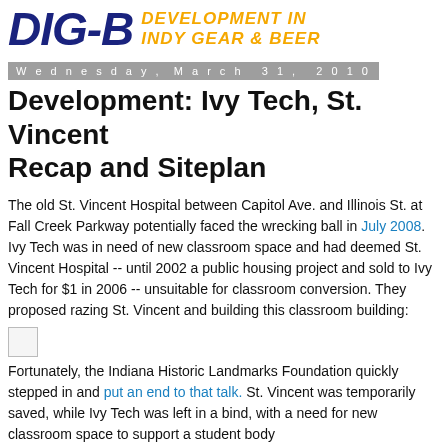DIG-B DEVELOPMENT IN INDY GEAR & BEER
Wednesday, March 31, 2010
Development: Ivy Tech, St. Vincent Recap and Siteplan
The old St. Vincent Hospital between Capitol Ave. and Illinois St. at Fall Creek Parkway potentially faced the wrecking ball in July 2008. Ivy Tech was in need of new classroom space and had deemed St. Vincent Hospital -- until 2002 a public housing project and sold to Ivy Tech for $1 in 2006 -- unsuitable for classroom conversion. They proposed razing St. Vincent and building this classroom building:
[Figure (photo): Small placeholder image thumbnail]
Fortunately, the Indiana Historic Landmarks Foundation quickly stepped in and put an end to that talk. St. Vincent was temporarily saved, while Ivy Tech was left in a bind, with a need for new classroom space to support a student body